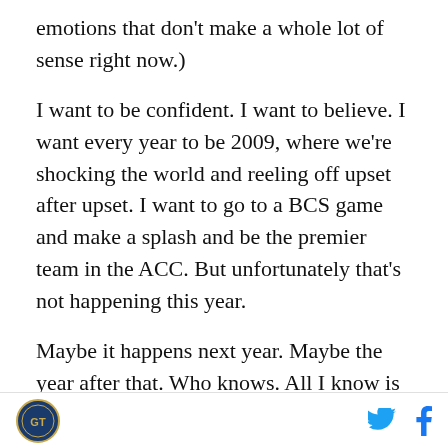emotions that don't make a whole lot of sense right now.)
I want to be confident. I want to believe. I want every year to be 2009, where we're shocking the world and reeling off upset after upset. I want to go to a BCS game and make a splash and be the premier team in the ACC. But unfortunately that's not happening this year.
Maybe it happens next year. Maybe the year after that. Who knows. All I know is that we're looking at a list of problems right now that isn't short and features a varying level of control (injuries have plagued our defense in the worst way).
[logo] [twitter] [facebook]